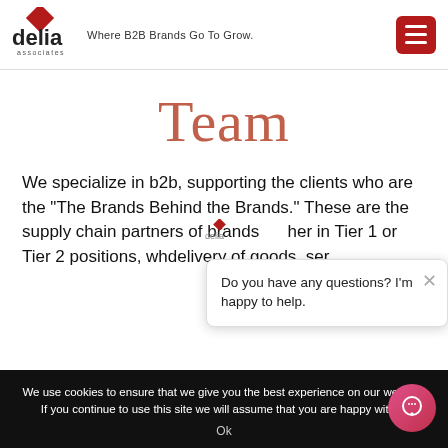Where B2B Brands Go To Grow.
Team
We specialize in b2b, supporting the clients who are the "The Brands Behind the Brands." These are the supply chain partners of brands her in Tier 1 or Tier 2 positions, who delivery of goods, ser...
Do you have any questions? I'm happy to help.
We use cookies to ensure that we give you the best experience on our website. If you continue to use this site we will assume that you are happy with it.
Ok